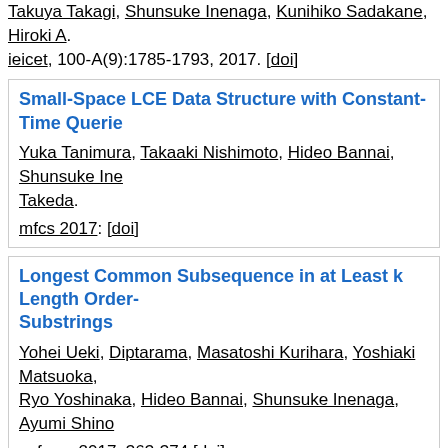Takuya Takagi, Shunsuke Inenaga, Kunihiko Sadakane, Hiroki A. ieicet, 100-A(9):1785-1793, 2017. [doi]
Small-Space LCE Data Structure with Constant-Time Queries
Yuka Tanimura, Takaaki Nishimoto, Hideo Bannai, Shunsuke Ine. Takeda.
mfcs 2017: [doi]
Longest Common Subsequence in at Least k Length Order-Substrings
Yohei Ueki, Diptarama, Masatoshi Kurihara, Yoshiaki Matsuoka, Ryo Yoshinaka, Hideo Bannai, Shunsuke Inenaga, Ayumi Shino
sofsem 2017: 363-374 [doi]
2016
Closed factorization
Golnaz Badkobeh, Hideo Bannai, Keisuke Goto, Tomohiro I., Co